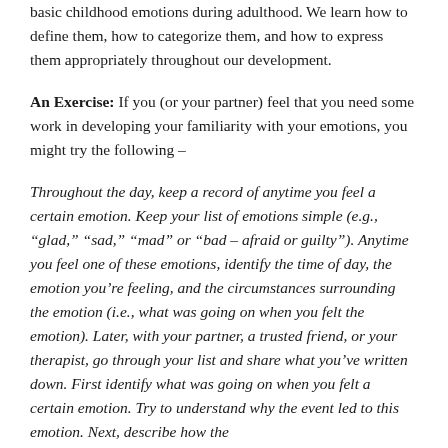basic childhood emotions during adulthood. We learn how to define them, how to categorize them, and how to express them appropriately throughout our development.
An Exercise: If you (or your partner) feel that you need some work in developing your familiarity with your emotions, you might try the following –
Throughout the day, keep a record of anytime you feel a certain emotion. Keep your list of emotions simple (e.g., "glad," "sad," "mad" or "bad – afraid or guilty"). Anytime you feel one of these emotions, identify the time of day, the emotion you're feeling, and the circumstances surrounding the emotion (i.e., what was going on when you felt the emotion). Later, with your partner, a trusted friend, or your therapist, go through your list and share what you've written down. First identify what was going on when you felt a certain emotion. Try to understand why the event led to this emotion. Next, describe how the